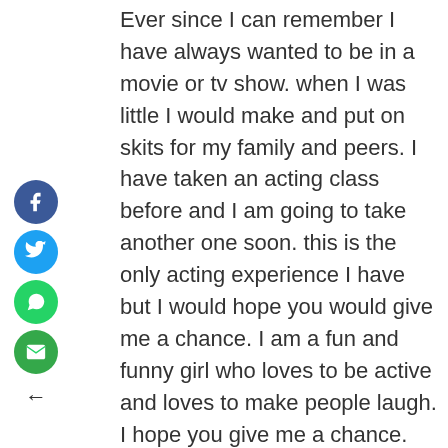Ever since I can remember I have always wanted to be in a movie or tv show. when I was little I would make and put on skits for my family and peers. I have taken an acting class before and I am going to take another one soon. this is the only acting experience I have but I would hope you would give me a chance. I am a fun and funny girl who loves to be active and loves to make people laugh. I hope you give me a chance.
gender: Female
skin tone: white (but I am tan)
height: 5'1
age: 16